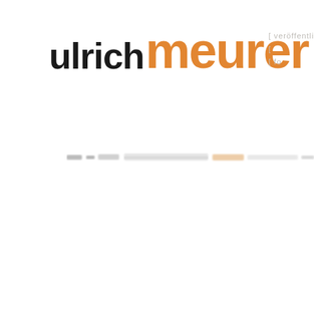ulrich meurer
[ veröffentli [ fo
[Figure (other): Horizontal blurred/distressed decorative bar element near vertical center of page]